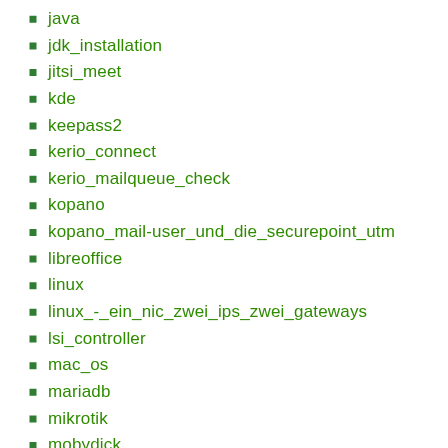java
jdk_installation
jitsi_meet
kde
keepass2
kerio_connect
kerio_mailqueue_check
kopano
kopano_mail-user_und_die_securepoint_utm
libreoffice
linux
linux_-_ein_nic_zwei_ips_zwei_gateways
lsi_controller
mac_os
mariadb
mikrotik
mobydick
ms_office
multisite
nagios